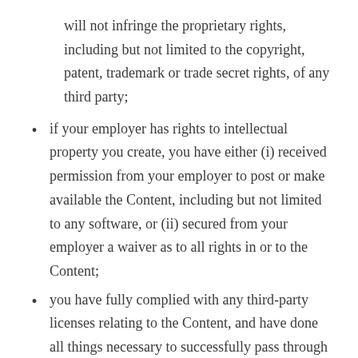will not infringe the proprietary rights, including but not limited to the copyright, patent, trademark or trade secret rights, of any third party;
if your employer has rights to intellectual property you create, you have either (i) received permission from your employer to post or make available the Content, including but not limited to any software, or (ii) secured from your employer a waiver as to all rights in or to the Content;
you have fully complied with any third-party licenses relating to the Content, and have done all things necessary to successfully pass through to end users any required terms;
the Content does not contain or install any viruses, worms, malware, Trojan horses or other harmful or destructive content;
the Content is not spam, is not machine- or